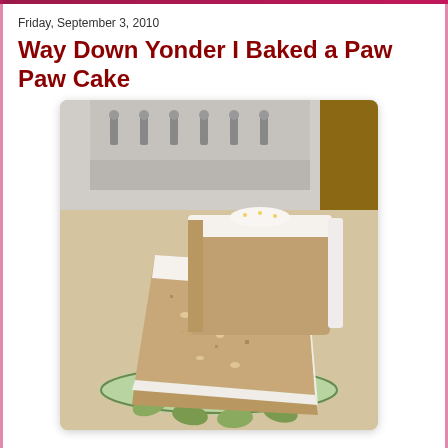Friday, September 3, 2010
Way Down Yonder I Baked a Paw Paw Cake
[Figure (photo): A slice of paw paw cake with white cream cheese frosting on a decorative plate, with the rest of the cake in the background. The cake has a dense, moist crumb with visible nuts. Setting appears to be a kitchen with a vintage stove visible in the background.]